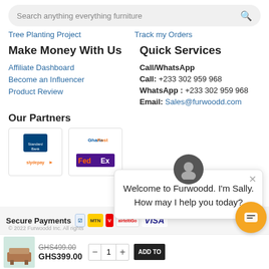Search anything everything furniture
Tree Planting Project
Track my Orders
Make Money With Us
Affiliate Dashboard
Become an Influencer
Product Review
Quick Services
Call/WhatsApp
Call: +233 302 959 968
WhatsApp : +233 302 959 968
Email: Sales@furwoodd.com
Our Partners
[Figure (logo): Standard Bank / Slydepay partner logo]
[Figure (logo): GhanaPost / FedEx Express partner logo]
Working Hours
Welcome to Furwoodd. I'm Sally.
How may I help you today?
Secure Payments
© 2022 Furwoodd Inc. All rights reserved.
GHS499.00  GHS399.00